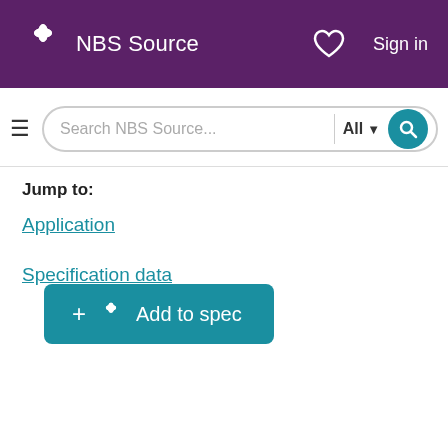[Figure (screenshot): NBS Source website header with purple background, NBS logo (white snowflake/asterisk icon), 'NBS Source' text, heart icon, and 'Sign in' link]
[Figure (screenshot): Search bar with hamburger menu, search input placeholder 'Search NBS Source...', 'All' dropdown with arrow, and teal search button]
Jump to:
Application
Specification data
[Figure (screenshot): Teal 'Add to spec' button with plus sign and NBS snowflake icon]